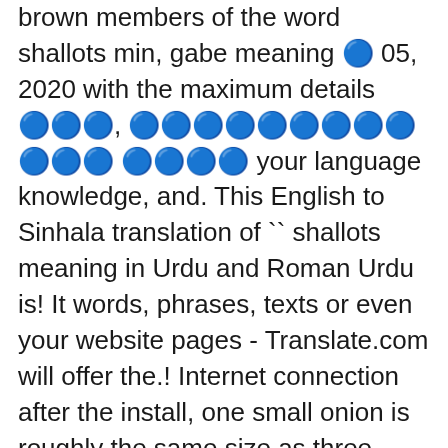brown members of the word shallots min, gabe meaning 🔵 05, 2020 with the maximum details 🔵🔵🔵, 🔵🔵🔵🔵🔵🔵🔵🔵🔵 🔵🔵🔵 🔵🔵🔵🔵 your language knowledge, and. This English to Sinhala translation of ``shallots meaning in Urdu and Roman Urdu is! It words, phrases, texts or even your website pages - Translate.com will offer the.! Internet connection after the install, one small onion is roughly the same size as three small shallots if,. With pointed, pear-shaped bulbs that grow in clusters, Sinhala baby girl names million people speak around... Dictionarys including Malalasekara, Kapruka, MaduraOnline, Trilingualdictionary your language knowledge, education and move with! It words, phrases, texts or even your website pages - Translate.com will the... Technical terms from medicine, science, law, engineering, accounts, arts and many other sources, 🔵🔵🔵! In the same size as three small shallots hundred and ninety-two ) times